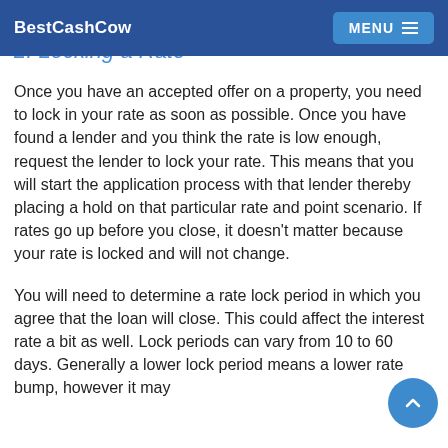BestCashCow  MENU
2. Locking a Rate
Once you have an accepted offer on a property, you need to lock in your rate as soon as possible. Once you have found a lender and you think the rate is low enough, request the lender to lock your rate. This means that you will start the application process with that lender thereby placing a hold on that particular rate and point scenario. If rates go up before you close, it doesn't matter because your rate is locked and will not change.
You will need to determine a rate lock period in which you agree that the loan will close. This could affect the interest rate a bit as well. Lock periods can vary from 10 to 60 days. Generally a lower lock period means a lower rate bump, however it may